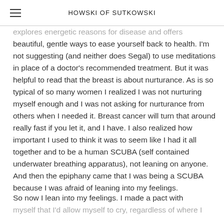HOWSKI OF SUTKOWSKI
explores energetic reasons for disease and offers beautiful, gentle ways to ease yourself back to health. I'm not suggesting (and neither does Segal) to use meditations in place of a doctor's recommended treatment. But it was helpful to read that the breast is about nurturance. As is so typical of so many women I realized I was not nurturing myself enough and I was not asking for nurturance from others when I needed it. Breast cancer will turn that around really fast if you let it, and I have. I also realized how important I used to think it was to seem like I had it all together and to be a human SCUBA (self contained underwater breathing apparatus), not leaning on anyone. And then the epiphany came that I was being a SCUBA because I was afraid of leaning into my feelings.
So now I lean into my feelings. I made a pact with myself that I'd allow myself to cry, regardless of where I